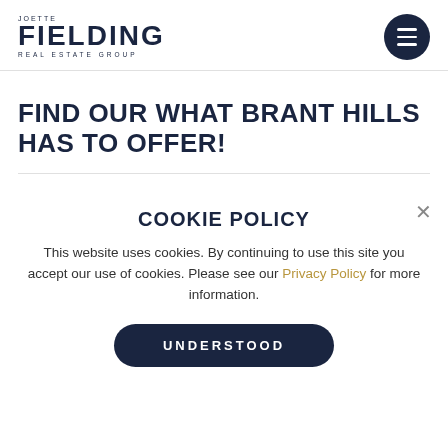[Figure (logo): Joette Fielding Real Estate Group logo with hamburger menu button on the right]
FIND OUR WHAT BRANT HILLS HAS TO OFFER!
COOKIE POLICY
This website uses cookies. By continuing to use this site you accept our use of cookies. Please see our Privacy Policy for more information.
UNDERSTOOD